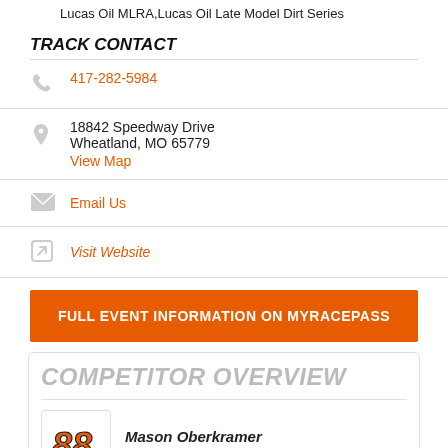Lucas Oil MLRA,Lucas Oil Late Model Dirt Series
TRACK CONTACT
417-282-5984
18842 Speedway Drive
Wheatland, MO 65779
View Map
Email Us
Visit Website
FULL EVENT INFORMATION ON MYRACEPASS
COMPETITOR OVERVIEW
Mason Oberkramer
Broseley, MO